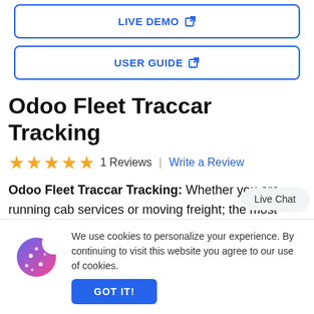[Figure (other): LIVE DEMO button with external link icon, outlined in blue]
[Figure (other): USER GUIDE button with external link icon, outlined in blue]
Odoo Fleet Traccar Tracking
★★★★★ 1 Reviews | Write a Review
Odoo Fleet Traccar Tracking: Whether you are running cab services or moving freight; the most crucial part is tracking the vehicles as you have the responsibility of the people i
[Figure (other): Cookie consent banner with cookie icon, text: We use cookies to personalize your experience. By continuing to visit this website you agree to our use of cookies. GOT IT! button.]